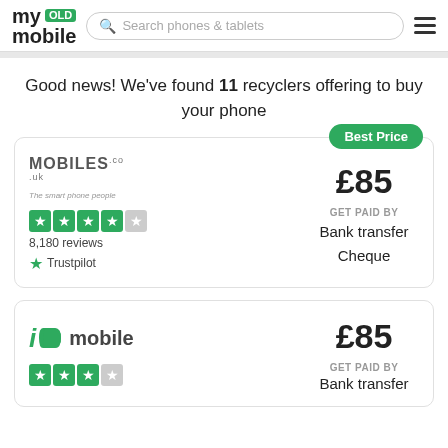my OLD mobile — Search phones & tablets
Good news! We've found 11 recyclers offering to buy your phone
Best Price — MOBILES.co.uk — The smart phone people — 8,180 reviews — Trustpilot — £85 — GET PAID BY — Bank transfer — Cheque
iD mobile — £85 — GET PAID BY — Bank transfer